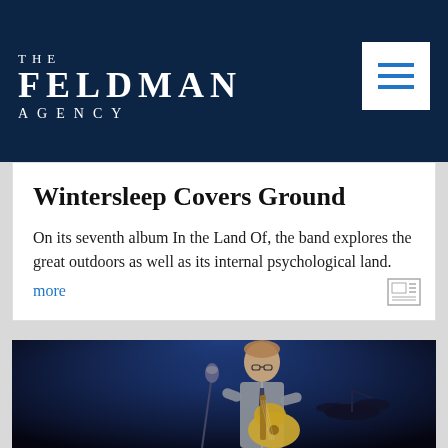THE FELDMAN AGENCY
Wintersleep Covers Ground
On its seventh album In the Land Of, the band explores the great outdoors as well as its internal psychological land. more
[Figure (photo): Performer on stage with vintage microphone and acoustic guitar, wearing glasses, vest and tie, with blue stage lighting in background]